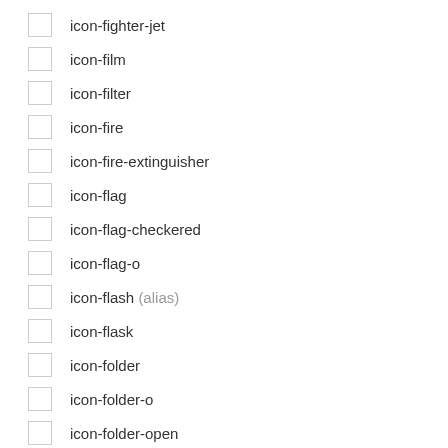icon-fighter-jet
icon-film
icon-filter
icon-fire
icon-fire-extinguisher
icon-flag
icon-flag-checkered
icon-flag-o
icon-flash (alias)
icon-flask
icon-folder
icon-folder-o
icon-folder-open
icon-folder-open-o
icon-frown-o
icon-gamepad